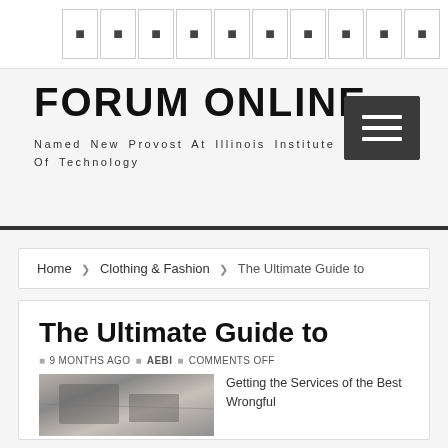FORUM ONLINE - Named New Provost At Illinois Institute Of Technology
FORUM ONLINE
Named New Provost At Illinois Institute Of Technology
Home | Clothing & Fashion | The Ultimate Guide to
The Ultimate Guide to
9 MONTHS AGO | AEBI | COMMENTS OFF
Getting the Services of the Best Wrongful